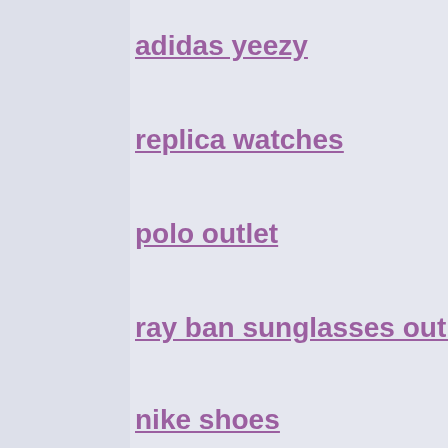adidas yeezy
replica watches
polo outlet
ray ban sunglasses outl…
nike shoes